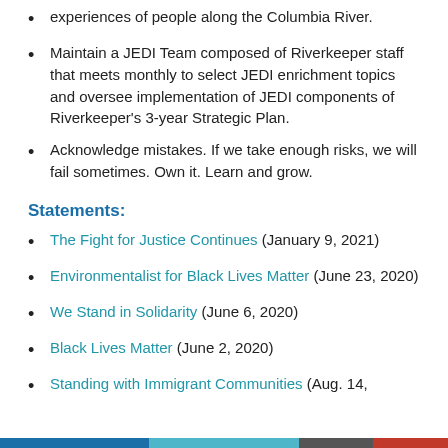experiences of people along the Columbia River.
Maintain a JEDI Team composed of Riverkeeper staff that meets monthly to select JEDI enrichment topics and oversee implementation of JEDI components of Riverkeeper's 3-year Strategic Plan.
Acknowledge mistakes. If we take enough risks, we will fail sometimes. Own it. Learn and grow.
Statements:
The Fight for Justice Continues (January 9, 2021)
Environmentalist for Black Lives Matter (June 23, 2020)
We Stand in Solidarity (June 6, 2020)
Black Lives Matter (June 2, 2020)
Standing with Immigrant Communities (Aug. 14,